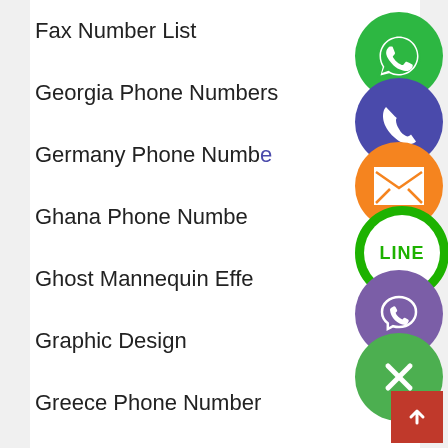Fax Number List
Georgia Phone Numbers
Germany Phone Numbers
Ghana Phone Numbers
Ghost Mannequin Effect
Graphic Design
Greece Phone Numbers
Guatemala Phone Numbers